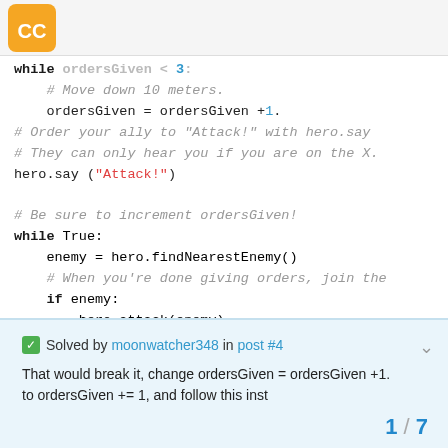CodeCombat logo
while ordersGiven < 3:
    # Move down 10 meters.
    ordersGiven = ordersGiven +1.
# Order your ally to "Attack!" with hero.say
# They can only hear you if you are on the X.
hero.say ("Attack!")

# Be sure to increment ordersGiven!
while True:
    enemy = hero.findNearestEnemy()
    # When you're done giving orders, join the
    if enemy:
        hero.attack(enemy)
✓ Solved by moonwatcher348 in post #4
That would break it, change ordersGiven = ordersGiven +1. to ordersGiven += 1, and follow this inst
1 / 7